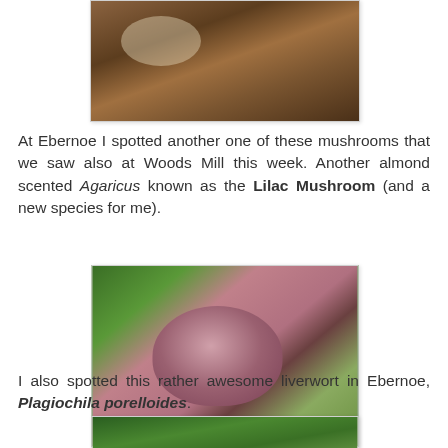[Figure (photo): Close-up photo of a mushroom among brown fallen leaves on forest floor]
At Ebernoe I spotted another one of these mushrooms that we saw also at Woods Mill this week. Another almond scented Agaricus known as the Lilac Mushroom (and a new species for me).
[Figure (photo): Photo of a lilac/pink mushroom (Agaricus) growing among green grass and brown leaves]
I also spotted this rather awesome liverwort in Ebernoe, Plagiochila porelloides.
[Figure (photo): Photo of liverwort Plagiochila porelloides growing among green vegetation]